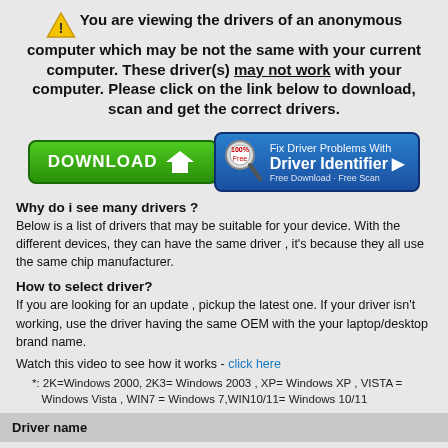You are viewing the drivers of an anonymous computer which may be not the same with your current computer. These driver(s) may not work with your computer. Please click on the link below to download, scan and get the correct drivers.
[Figure (infographic): Download button (green) and Fix Driver Problems With Driver Identifier button (blue) side by side]
Why do i see many drivers ?
Below is a list of drivers that may be suitable for your device. With the different devices, they can have the same driver , it's because they all use the same chip manufacturer.
How to select driver?
If you are looking for an update , pickup the latest one. If your driver isn't working, use the driver having the same OEM with the your laptop/desktop brand name.
Watch this video to see how it works - click here
*: 2K=Windows 2000, 2K3= Windows 2003 , XP= Windows XP , VISTA = Windows Vista , WIN7 = Windows 7,WIN10/11= Windows 10/11
| Driver name |
| --- |